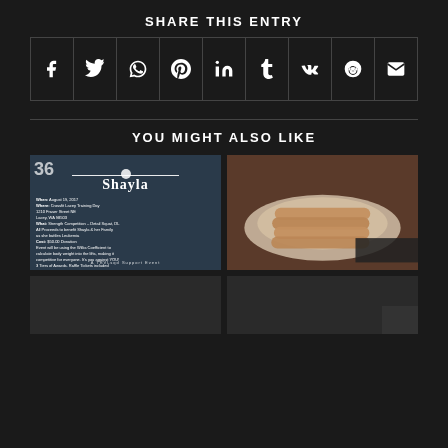SHARE THIS ENTRY
[Figure (infographic): Social media share buttons row: Facebook, Twitter, WhatsApp, Pinterest, LinkedIn, Tumblr, VK, Reddit, Email icons in a bordered row]
YOU MIGHT ALSO LIKE
[Figure (photo): Thumbnail of Shayla charity crossfit event flyer showing a person bench pressing with text about a strength competition]
[Figure (photo): Thumbnail of sausages on a plate with dark background]
[Figure (photo): Lower left thumbnail dark image]
[Figure (photo): Lower right thumbnail dark image with dark overlay box in corner]